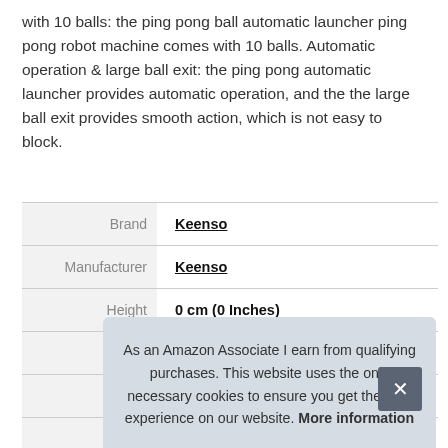with 10 balls: the ping pong ball automatic launcher ping pong robot machine comes with 10 balls. Automatic operation & large ball exit: the ping pong automatic launcher provides automatic operation, and the the large ball exit provides smooth action, which is not easy to block.
|  |  |
| --- | --- |
| Brand | Keenso |
| Manufacturer | Keenso |
| Height | 0 cm (0 Inches) |
| Length | 0 cm (0 Inches) |
| Weight | 0.66 kg (1.46 Pounds) |
| P |  |
As an Amazon Associate I earn from qualifying purchases. This website uses the only necessary cookies to ensure you get the best experience on our website. More information